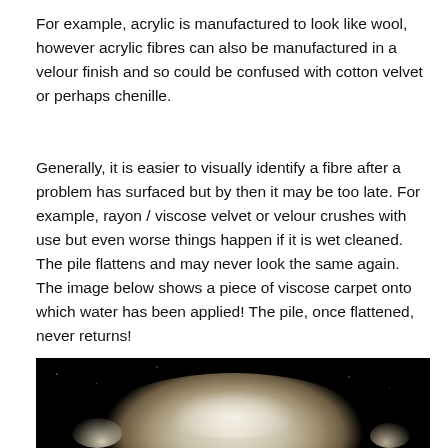For example, acrylic is manufactured to look like wool, however acrylic fibres can also be manufactured in a velour finish and so could be confused with cotton velvet or perhaps chenille.
Generally, it is easier to visually identify a fibre after a problem has surfaced but by then it may be too late. For example, rayon / viscose velvet or velour crushes with use but even worse things happen if it is wet cleaned. The pile flattens and may never look the same again. The image below shows a piece of viscose carpet onto which water has been applied! The pile, once flattened, never returns!
[Figure (photo): A close-up photograph on a dark/black background showing a piece of white/cream viscose carpet with flattened pile after water has been applied.]